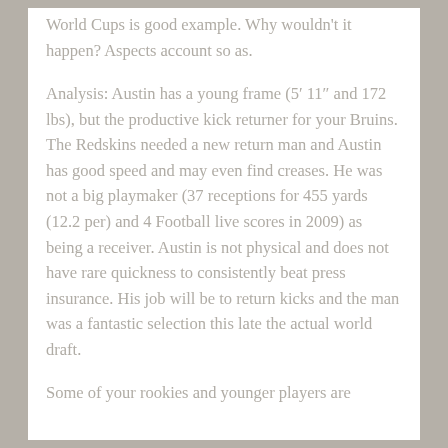World Cups is good example. Why wouldn't it happen? Aspects account so as.
Analysis: Austin has a young frame (5' 11" and 172 lbs), but the productive kick returner for your Bruins. The Redskins needed a new return man and Austin has good speed and may even find creases. He was not a big playmaker (37 receptions for 455 yards (12.2 per) and 4 Football live scores in 2009) as being a receiver. Austin is not physical and does not have rare quickness to consistently beat press insurance. His job will be to return kicks and the man was a fantastic selection this late the actual world draft.
Some of your rookies and younger players are